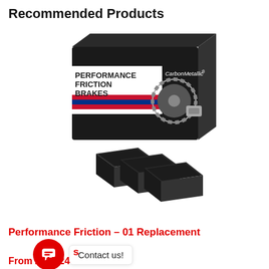Recommended Products
[Figure (photo): Product photo of Performance Friction Brakes CarbonMetallic brake pads with packaging box. The black box shows 'PERFORMANCE FRICTION BRAKES' and 'CarbonMetallic' branding with images of a brake disc and caliper. Several dark brake pads are displayed in front of the box.]
Performance Friction – 01 Replacement pads s
Contact us!
From £415.24